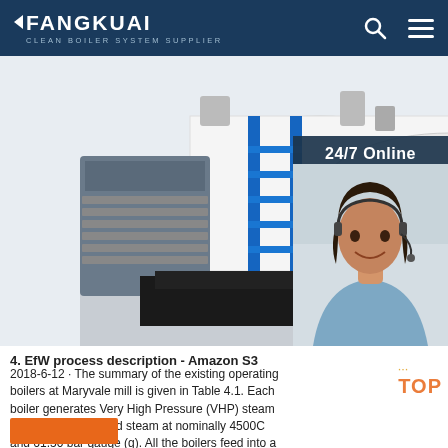FANGKUAI - Clean Boiler System Supplier
[Figure (photo): Industrial boiler equipment photo and customer service representative with headset, 24/7 Online chat panel with 'Click here for free chat!' and QUOTATION button]
4. EfW process description - Amazon S3
2018-6-12 · The summary of the existing operating boilers at Maryvale mill is given in Table 4.1. Each boiler generates Very High Pressure (VHP) steam which is superheated steam at nominally 4500C and 61.50 bar gauge (g). All the boilers feed into a VHP steam header system which distributes the steam to energy consumers within the mill,